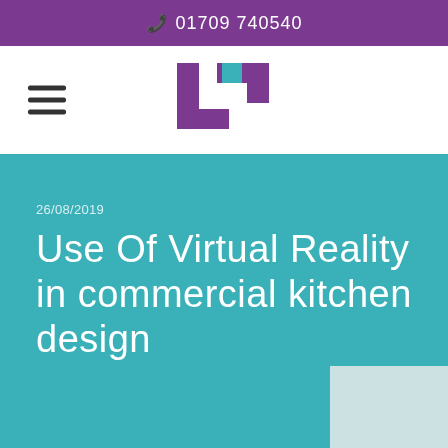📞 01709 740540
[Figure (logo): Company logo: stylized letter L and C in purple with a teal square accent]
26/08/2019
Use Of Virtual Reality in commercial kitchen design